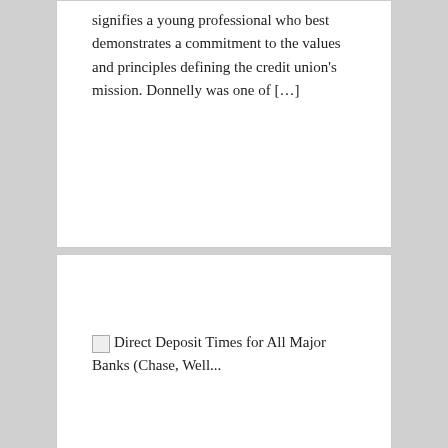signifies a young professional who best demonstrates a commitment to the values and principles defining the credit union's mission. Donnelly was one of […]
Direct Deposit Times for All Major Banks (Chase, Well...